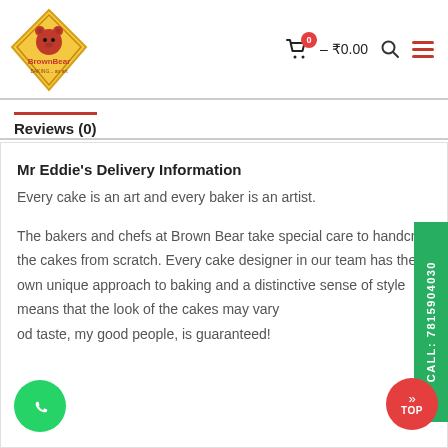[Figure (logo): BrownBear Baking logo — diamond shaped badge with bear icon and text]
0 – ₹0.00
Reviews (0)
Mr Eddie's Delivery Information
Every cake is an art and every baker is an artist.

The bakers and chefs at Brown Bear take special care to handcraft the cakes from scratch. Every cake designer in our team has their own unique approach to baking and a distinctive sense of style. This means that the look of the cakes may vary but the good taste, my good people, is guaranteed!